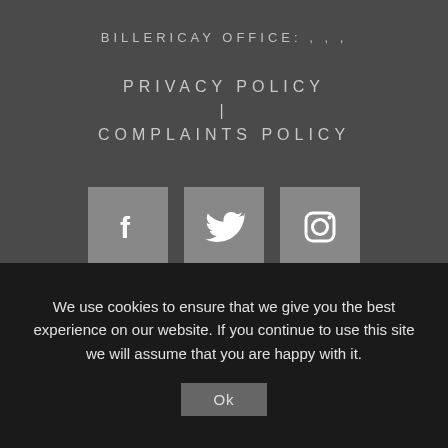BILLERICAY OFFICE: , , ,
PRIVACY POLICY | COMPLAINTS POLICY
[Figure (other): Three social media icon buttons: Facebook, Twitter, Instagram, each on a gray square background]
We use cookies to ensure that we give you the best experience on our website. If you continue to use this site we will assume that you are happy with it.
Ok